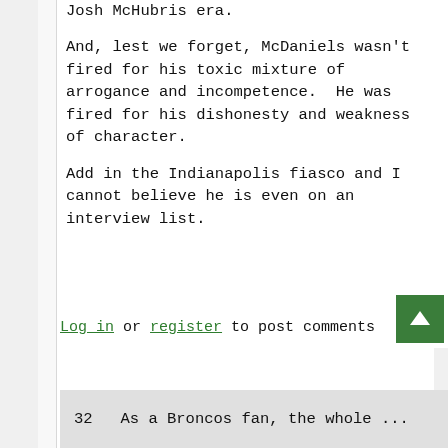Josh McHubris era.
And, lest we forget, McDaniels wasn't fired for his toxic mixture of arrogance and incompetence.  He was fired for his dishonesty and weakness of character.
Add in the Indianapolis fiasco and I cannot believe he is even on an interview list.
Log in or register to post comments
32   As a Broncos fan, the whole ...